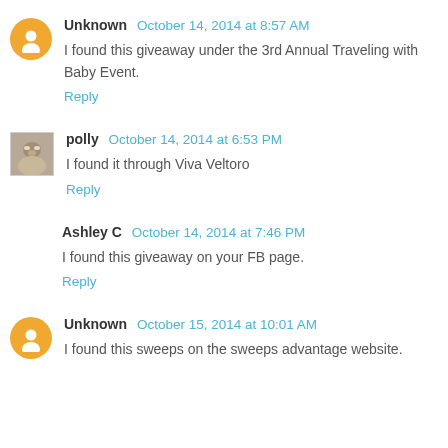Unknown October 14, 2014 at 8:57 AM
I found this giveaway under the 3rd Annual Traveling with Baby Event.
Reply
polly October 14, 2014 at 6:53 PM
I found it through Viva Veltoro
Reply
Ashley C October 14, 2014 at 7:46 PM
I found this giveaway on your FB page.
Reply
Unknown October 15, 2014 at 10:01 AM
I found this sweeps on the sweeps advantage website.